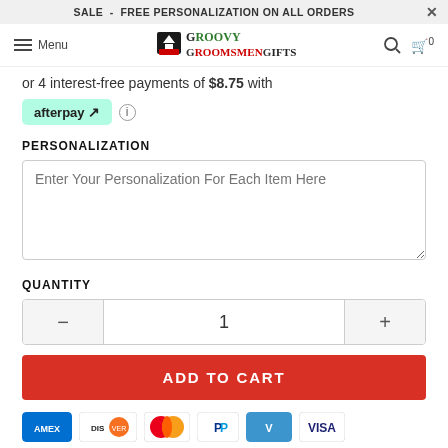SALE - FREE PERSONALIZATION ON ALL ORDERS
Menu | Groovy Groomsmen Gifts | Search | Cart 0
or 4 interest-free payments of $8.75 with afterpay
PERSONALIZATION
Enter Your Personalization For Each Item Here
QUANTITY
1
ADD TO CART
[Figure (other): Payment icons: American Express, Discover, Mastercard, PayPal, Venmo, Visa]